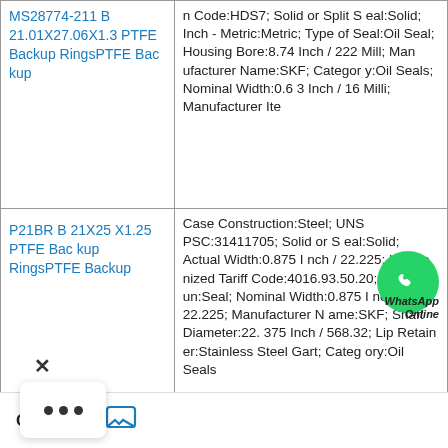| Product | Specifications |
| --- | --- |
| MS28774-211 B 21.01X27.06X1.3 PTFE Backup RingsPTFE Backup | n Code:HDS7; Solid or Split Seal:Solid; Inch - Metric:Metric; Type of Seal:Oil Seal; Housing Bore:8.74 Inch / 222 Mill; Manufacturer Name:SKF; Category:Oil Seals; Nominal Width:0.63 Inch / 16 Milli; Manufacturer Ite |
| P21BR B 21X25X1.25 PTFE Backup RingsPTFE Backup | Case Construction:Steel; UNSPSC:31411705; Solid or Seal:Solid; Actual Width:0.875 Inch / 22.225; Harmonized Tariff Code:4016.93.50.20; Noun:Seal; Nominal Width:0.875 Inch / 22.225; Manufacturer Name:SKF; Shaft Diameter:22.375 Inch / 568.32; Lip Retainer:Stainless Steel Gart; Category:Oil Seals |
|  | l Tariff Code:4016. lominal Width:0.75 |